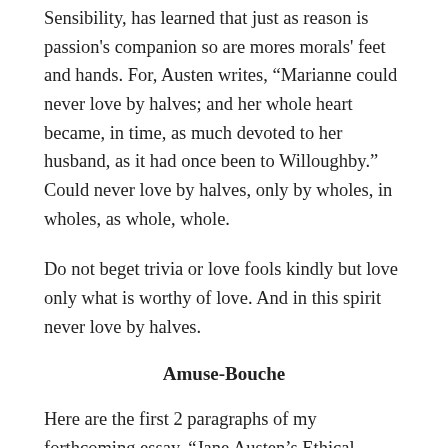Sensibility, has learned that just as reason is passion's companion so are mores morals' feet and hands. For, Austen writes, “Marianne could never love by halves; and her whole heart became, in time, as much devoted to her husband, as it had once been to Willoughby.” Could never love by halves, only by wholes, in wholes, as whole, whole.
Do not beget trivia or love fools kindly but love only what is worthy of love. And in this spirit never love by halves.
Amuse-Bouche
Here are the first 2 paragraphs of my forthcoming essay, “Jane Austen’s Ethical Vision of Wholehearted Love.” (I’m still gnawing away at the prose.)